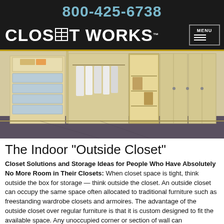800-425-6738
[Figure (logo): Closet Works logo with menu button on black background]
[Figure (photo): Interior photo of a custom walk-in closet with light wood cabinetry, frosted glass drawers, hanging clothes, and open shelving on dark carpet]
The Indoor "Outside Closet"
Closet Solutions and Storage Ideas for People Who Have Absolutely No More Room in Their Closets: When closet space is tight, think outside the box for storage — think outside the closet. An outside closet can occupy the same space often allocated to traditional furniture such as freestanding wardrobe closets and armoires. The advantage of the outside closet over regular furniture is that it is custom designed to fit the available space. Any unoccupied corner or section of wall can